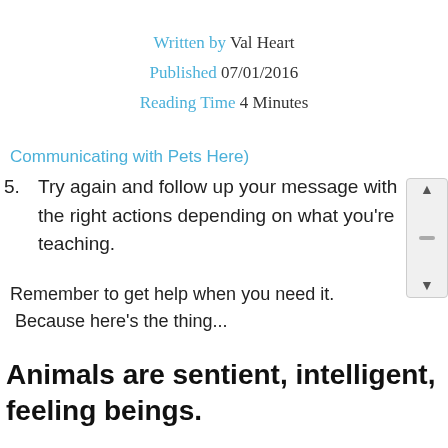Written by Val Heart
Published 07/01/2016
Reading Time 4 Minutes
Communicating with Pets Here)
5. Try again and follow up your message with the right actions depending on what you’re teaching.
Remember to get help when you need it. Because here’s the thing...
Animals are sentient, intelligent, feeling beings.